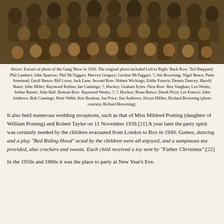[Figure (photo): Black and white sepia photograph of a group of boys/young men at the Gang Show in 1936, arranged in rows.]
Above: Extract of photo of the Gang Show in 1936. The original photo included Left to Right: Back Row: Ted Sheppard; Phil Lambert; John Sparrow; Phil McTaggart; Mervyn Gregory; Gordon McTaggart; ?; Jim Browning; Nigel Bence; Peter Armstead; Geoff Bence; Bill Lowe; Jack Lane. Second Row: Hubert Wickings; Eddie Francis; Dennis Dancey; Harold Bates; John Miller; Raymond Robins; Ian Cannings; ?; Hockey; Graham Eyles. Next Row: Ben Vaughan; Len Weeks; Arthur Baxter; John Hall. Bottom Row: Raymond Weeks; ?; ?; Hockey; Brian Bence; Derek Price; Les Francis; John Andrews; Bob Cannings; Peter Webb; Ken Boulton; Joe Price; Jim Andrews; Alwyn Hillier; Richard Browning (photo courtesy Richard Browning).
It also held numerous wedding receptions, such as that of Miss Mildred Ponting (daughter of William Ponting) and Robert Tayler on 11 November 1939.[21] A year later the party spirit was certainly needed by the children evacuated from London to Box in 1940: Games, dancing and a play "Red Riding Hood" acted by the children were all enjoyed, and a sumptuous tea provided, also crackers and sweets. Each child received a toy sent by "Father Christmas".[22]
In the 1950s and 1960s it was the place to party at New Year's Eve.